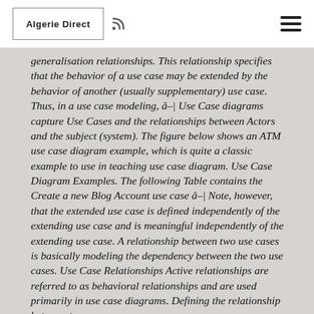Algerie Direct
generalisation relationships. This relationship specifies that the behavior of a use case may be extended by the behavior of another (usually supplementary) use case. Thus, in a use case modeling, â¦ Use Case diagrams capture Use Cases and the relationships between Actors and the subject (system). The figure below shows an ATM use case diagram example, which is quite a classic example to use in teaching use case diagram. Use Case Diagram Examples. The following Table contains the Create a new Blog Account use case â¦ Note, however, that the extended use case is defined independently of the extending use case and is meaningful independently of the extending use case. A relationship between two use cases is basically modeling the dependency between the two use cases. Use Case Relationships Active relationships are referred to as behavioral relationships and are used primarily in use case diagrams. Defining the relationship between two use